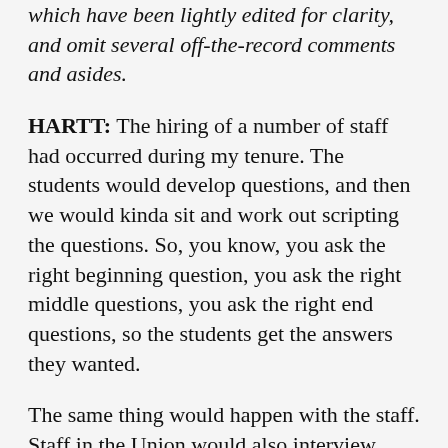which have been lightly edited for clarity, and omit several off-the-record comments and asides.
HARTT: The hiring of a number of staff had occurred during my tenure. The students would develop questions, and then we would kinda sit and work out scripting the questions. So, you know, you ask the right beginning question, you ask the right middle questions, you ask the right end questions, so the students get the answers they wanted.
The same thing would happen with the staff. Staff in the Union would also interview individuals and give their opinion, whether it was for a director position in student activities, or an assistant director, or whatever those positions were. Then usually, someone from the campus would be involved, and depending on the position it might be